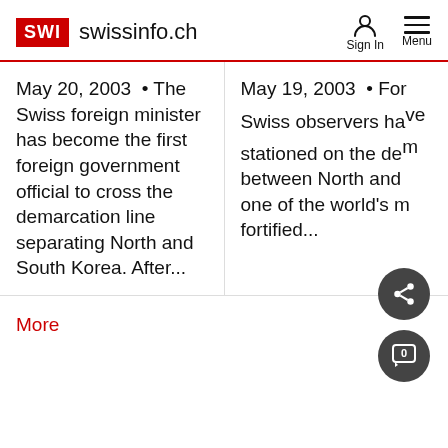SWI swissinfo.ch  Sign In  Menu
May 20, 2003  • The Swiss foreign minister has become the first foreign government official to cross the demarcation line separating North and South Korea. After...
May 19, 2003  • For Swiss observers have stationed on the demarcation between North and one of the world's most fortified...
More